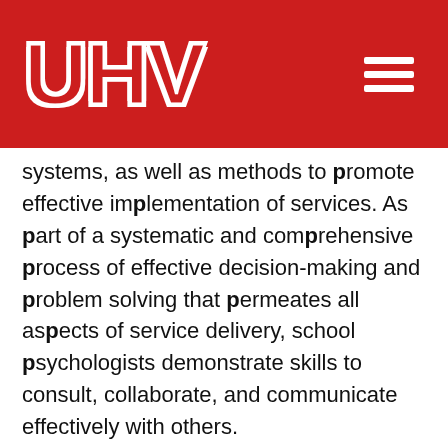[Figure (logo): UHV university logo on red header background with hamburger menu icon]
systems, as well as methods to promote effective implementation of services. As part of a systematic and comprehensive process of effective decision-making and problem solving that permeates all aspects of service delivery, school psychologists demonstrate skills to consult, collaborate, and communicate effectively with others.
Domain 2 will be submitted in the following courses:
PSYC 6340: School Consultation
PSYC 6348: School Psychology Practicum